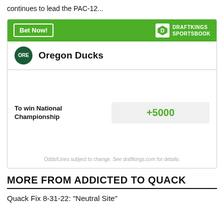continues to lead the PAC-12...
[Figure (infographic): DraftKings Sportsbook betting widget showing Oregon Ducks to win National Championship at +5000 odds]
MORE FROM ADDICTED TO QUACK
Quack Fix 8-31-22: “Neutral Site”